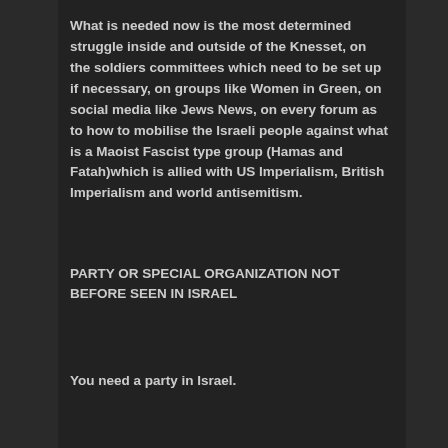What is needed now is the most determined struggle inside and outside of the Knesset, on the soldiers committees which need to be set up if necessary, on groups like Women in Green, on social media like Jews News, on every forum as to how to mobilise the Israeli people against what is a Maoist Fascist type group (Hamas and Fatah)which is allied with US Imperialism, British Imperialism and world antisemitism.
PARTY OR SPECIAL ORGANIZATION NOT BEFORE SEEN IN ISRAEL
You need a party in Israel.